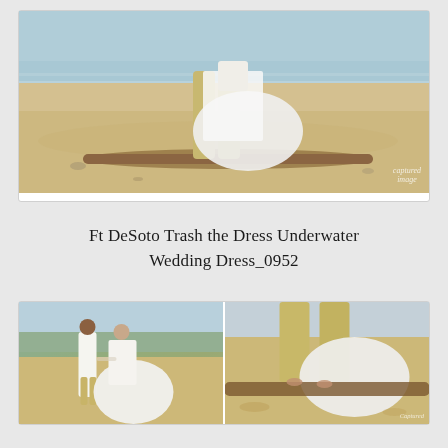[Figure (photo): Wedding couple on beach at sunset — woman in white wedding dress with groom in khaki pants, sitting on a driftwood log with ocean in background. Watermark reads 'captured image' in bottom right.]
Ft DeSoto Trash the Dress Underwater Wedding Dress_0952
[Figure (photo): Two-panel collage: left panel shows couple standing on beach, woman in wedding dress holding skirt out, man in white shirt and khaki pants; right panel shows close-up of couple's feet on driftwood log with wedding dress skirt visible. Watermark 'Captured' in bottom right.]